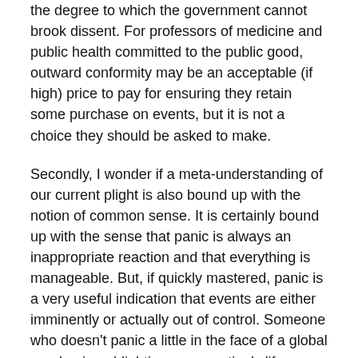the degree to which the government cannot brook dissent. For professors of medicine and public health committed to the public good, outward conformity may be an acceptable (if high) price to pay for ensuring they retain some purchase on events, but it is not a choice they should be asked to make.
Secondly, I wonder if a meta-understanding of our current plight is also bound up with the notion of common sense. It is certainly bound up with the sense that panic is always an inappropriate reaction and that everything is manageable. But, if quickly mastered, panic is a very useful indication that events are either imminently or actually out of control. Someone who doesn't panic a little in the face of a global pandemic or blighting a generation's life-chances perhaps has yet to fully get their arms around the problem. As Basil Fawlty responds when told by Polly